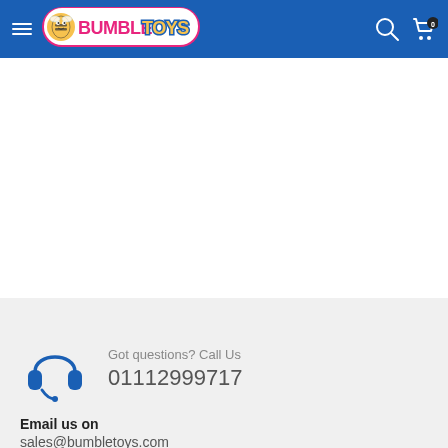BumbleToys — navigation header with logo, search, and cart icons
[Figure (logo): BumbleToys logo with bee character, pink and yellow bubble letters on white background with pink outline]
Got questions? Call Us
01112999717
Email us on
sales@bumbletoys.com